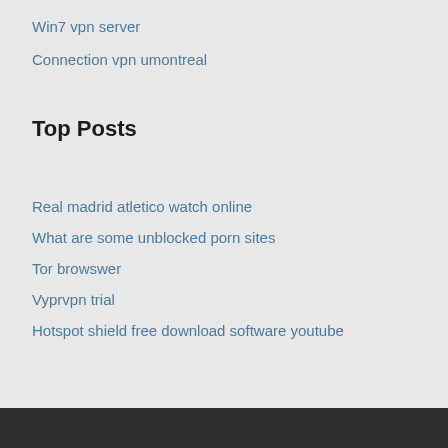Win7 vpn server
Connection vpn umontreal
Top Posts
Real madrid atletico watch online
What are some unblocked porn sites
Tor browswer
Vyprvpn trial
Hotspot shield free download software youtube